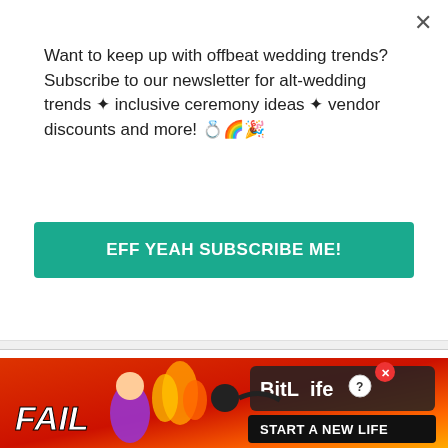Want to keep up with offbeat wedding trends?Subscribe to our newsletter for alt-wedding trends • inclusive ceremony ideas • vendor discounts and more! 💍🌈🎉
EFF YEAH SUBSCRIBE ME!
in the warm New York 4 o'clock light we are drifting back and forth between each other like a tree breathing through its spectacles
[Figure (other): Advertisement banner for BitLife game showing 'FAIL' text, animated character, flames, and 'START A NEW LIFE' text on red/orange background]